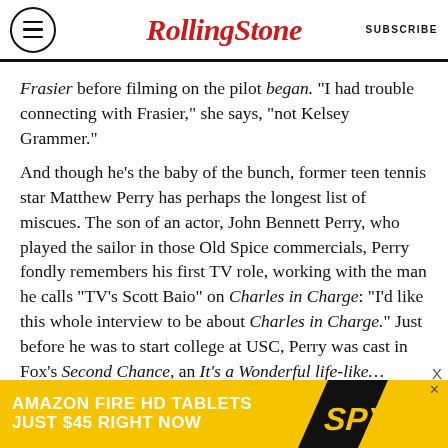Rolling Stone | SUBSCRIBE
Frasier before filming on the pilot began. “I had trouble connecting with Frasier,” she says, “not Kelsey Grammer.”
And though he’s the baby of the bunch, former teen tennis star Matthew Perry has perhaps the longest list of miscues. The son of an actor, John Bennett Perry, who played the sailor in those Old Spice commercials, Perry fondly remembers his first TV role, working with the man he calls “TV’s Scott Baio” on Charles in Charge: “I’d like this whole interview to be about Charles in Charge.” Just before he was to start college at USC, Perry was cast in Fox’s Second Chance, an It’s a Wonderful Life-like...
[Figure (other): Amazon Fire HD Tablets advertisement banner: 'AMAZON FIRE HD TABLETS JUST $45 RIGHT NOW' with SPY logo]